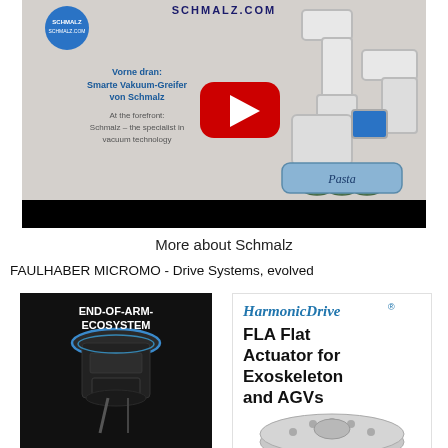[Figure (screenshot): Schmalz video thumbnail showing a robotic arm gripping a pasta package with vacuum suction cups, with German and English text overlay and YouTube play button]
More about Schmalz
FAULHABER MICROMO - Drive Systems, evolved
[Figure (photo): END-OF-ARM-ECOSYSTEM product photo showing a black robotic end-of-arm tool module on dark background]
[Figure (photo): HarmonicDrive FLA Flat Actuator for Exoskeleton and AGVs product image]